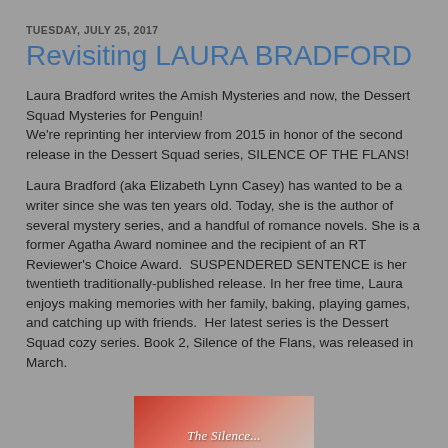TUESDAY, JULY 25, 2017
Revisiting LAURA BRADFORD
Laura Bradford writes the Amish Mysteries and now, the Dessert Squad Mysteries for Penguin!
We're reprinting her interview from 2015 in honor of the second release in the Dessert Squad series, SILENCE OF THE FLANS!
Laura Bradford (aka Elizabeth Lynn Casey) has wanted to be a writer since she was ten years old. Today, she is the author of several mystery series, and a handful of romance novels. She is a former Agatha Award nominee and the recipient of an RT Reviewer's Choice Award.  SUSPENDERED SENTENCE is her twentieth traditionally-published release. In her free time, Laura enjoys making memories with her family, baking, playing games, and catching up with friends.  Her latest series is the Dessert Squad cozy series. Book 2, Silence of the Flans, was released in March.
[Figure (photo): Partial view of a book cover showing 'The Silence...' with a reddish/warm-toned background image]